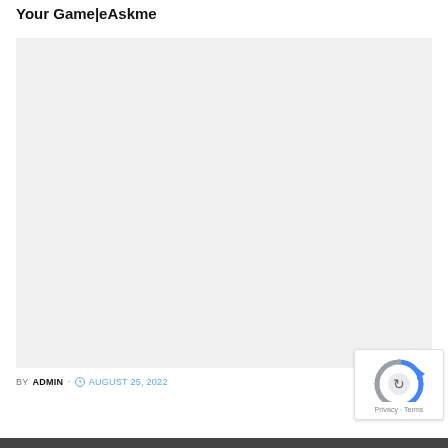Your Game|eAskme
[Figure (photo): Large image placeholder with light gray background]
BY ADMIN · AUGUST 25, 2022
[Figure (other): reCAPTCHA badge with Privacy - Terms text]